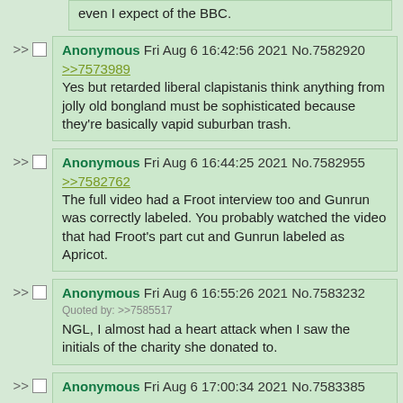even I expect of the BBC.
Anonymous Fri Aug 6 16:42:56 2021 No.7582920
>>7573989
Yes but retarded liberal clapistanis think anything from jolly old bongland must be sophisticated because they're basically vapid suburban trash.
Anonymous Fri Aug 6 16:44:25 2021 No.7582955
>>7582762
The full video had a Froot interview too and Gunrun was correctly labeled. You probably watched the video that had Froot's part cut and Gunrun labeled as Apricot.
Anonymous Fri Aug 6 16:55:26 2021 No.7583232
Quoted by: >>7585517
NGL, I almost had a heart attack when I saw the initials of the charity she donated to.
Anonymous Fri Aug 6 17:00:34 2021 No.7583385